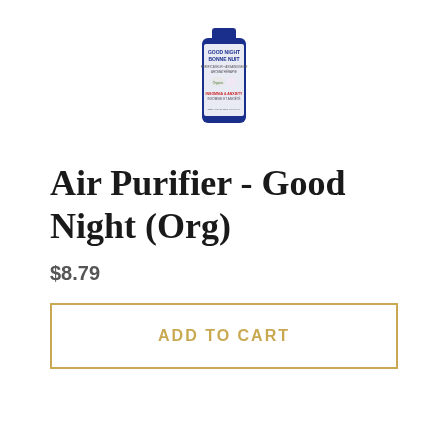[Figure (photo): A small blue glass bottle of 'Good Night / Bonne Nuit' Air Purifier product, partially cropped at the top, centered in the upper portion of the page.]
Air Purifier - Good Night (Org)
$8.79
ADD TO CART